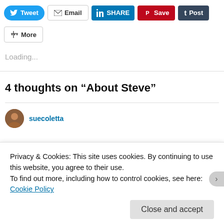[Figure (screenshot): Social share buttons: Tweet (Twitter), Email, Share (LinkedIn), Save (Pinterest), Post (Tumblr), More]
Loading...
4 thoughts on “About Steve”
suecoletta
Privacy & Cookies: This site uses cookies. By continuing to use this website, you agree to their use.
To find out more, including how to control cookies, see here: Cookie Policy
Close and accept